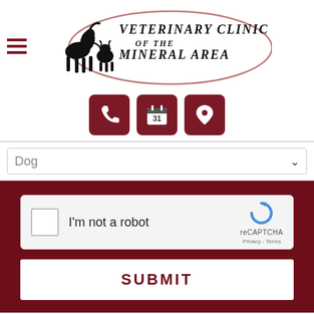[Figure (logo): Veterinary Clinic of the Mineral Area logo with silhouettes of a horse, cat, and dog inside an oval, plus hamburger menu icon]
[Figure (screenshot): Three dark red icon buttons: phone, calendar (31), and map pin location]
[Figure (screenshot): Dog dropdown select field]
[Figure (screenshot): reCAPTCHA widget with checkbox, 'I'm not a robot' text, and reCAPTCHA branding]
SUBMIT
FARMINGTON VETERINARIAN • ABOUT US • VETERINARIANS • SERVICES • BOARDING •